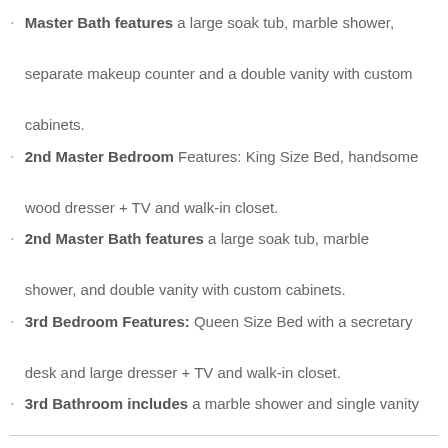Master Bath features a large soak tub, marble shower, separate makeup counter and a double vanity with custom cabinets.
2nd Master Bedroom Features: King Size Bed, handsome wood dresser + TV and walk-in closet.
2nd Master Bath features a large soak tub, marble shower, and double vanity with custom cabinets.
3rd Bedroom Features: Queen Size Bed with a secretary desk and large dresser + TV and walk-in closet.
3rd Bathroom includes a marble shower and single vanity with custom cabinets.